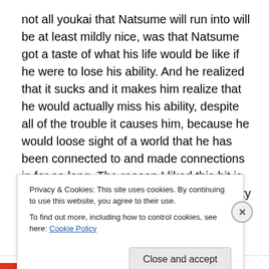not all youkai that Natsume will run into will be at least mildly nice, was that Natsume got a taste of what his life would be like if he were to lose his ability. And he realized that it sucks and it makes him realize that he would actually miss his ability, despite all of the trouble it causes him, because he would loose sight of a world that he has been connected to and made connections in for so long. The reason I liked this bit is because I'm sure that given the opportunity earlier on in his life, Natsume would have jumped at the opportunity to not see the beings that are causing him to be thought of as
Privacy & Cookies: This site uses cookies. By continuing to use this website, you agree to their use.
To find out more, including how to control cookies, see here: Cookie Policy
Close and accept